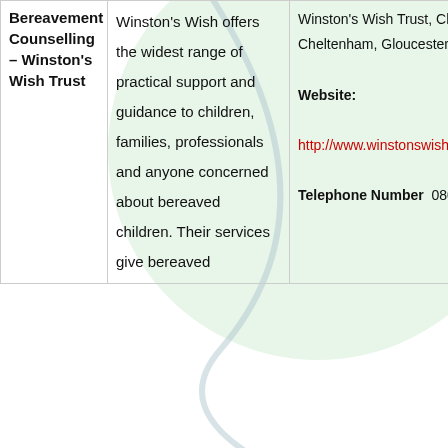| Bereavement Counselling – Winston's Wish Trust | Winston's Wish offers the widest range of practical support and guidance to children, families, professionals and anyone concerned about bereaved children. Their services give bereaved | Winston's Wish Trust, Cheltenham, Gloucestershire

Website:
http://www.winstonswish.o...

Telephone Number  08088... |